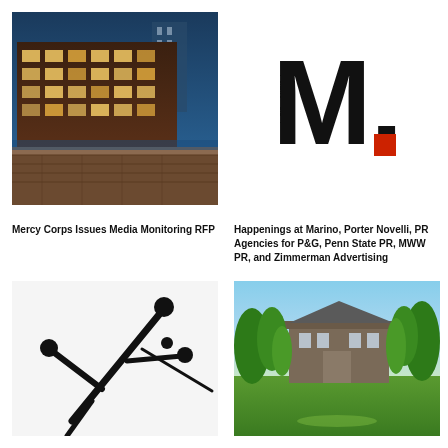[Figure (photo): Exterior of a modern brick building at dusk with illuminated windows and a canal or walkway in the foreground]
[Figure (logo): Bold black letter M with a red square period forming a logo — Marino PR agency logo]
Mercy Corps Issues Media Monitoring RFP
Happenings at Marino, Porter Novelli, PR Agencies for P&G, Penn State PR, MWW PR, and Zimmerman Advertising
[Figure (photo): Abstract black metal sculpture with stick-figure shapes on a white background]
[Figure (photo): Green park lawn with large trees and a historic brick building in the background on a sunny day]